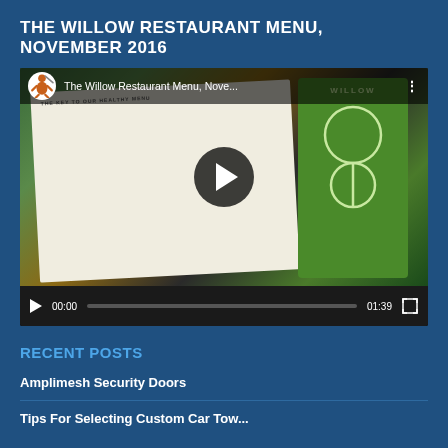THE WILLOW RESTAURANT MENU, NOVEMBER 2016
[Figure (screenshot): YouTube video thumbnail showing The Willow Restaurant Menu, November 2016 video with play button, video controls showing 00:00 / 01:39]
RECENT POSTS
Amplimesh Security Doors
Tips For Selecting Custom Car Tow...